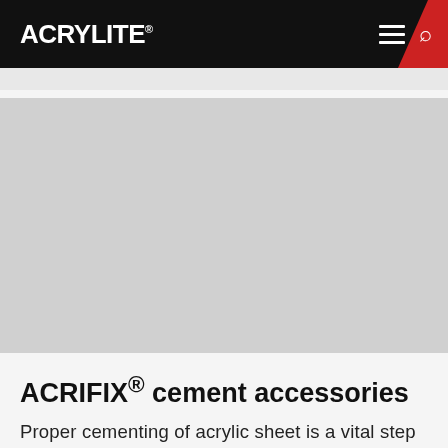ACRYLITE®
[Figure (photo): Gray placeholder image area for product photo]
ACRIFIX® cement accessories
Proper cementing of acrylic sheet is a vital step in fabricating museum quality vitrines